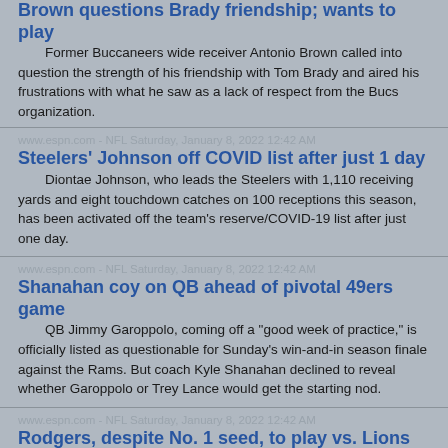Brown questions Brady friendship; wants to play
Former Buccaneers wide receiver Antonio Brown called into question the strength of his friendship with Tom Brady and aired his frustrations with what he saw as a lack of respect from the Bucs organization.
www.espn.com - NFL Saturday, January 8, 2022 12:42 AM
Steelers' Johnson off COVID list after just 1 day
Diontae Johnson, who leads the Steelers with 1,110 receiving yards and eight touchdown catches on 100 receptions this season, has been activated off the team's reserve/COVID-19 list after just one day.
www.espn.com - NFL Saturday, January 8, 2022 12:42 AM
Shanahan coy on QB ahead of pivotal 49ers game
QB Jimmy Garoppolo, coming off a "good week of practice," is officially listed as questionable for Sunday's win-and-in season finale against the Rams. But coach Kyle Shanahan declined to reveal whether Garoppolo or Trey Lance would get the starting nod.
www.espn.com - NFL Saturday, January 8, 2022 12:42 AM
Rodgers, despite No. 1 seed, to play vs. Lions
Aaron Rodgers might not play the entire game vs. the Lions on